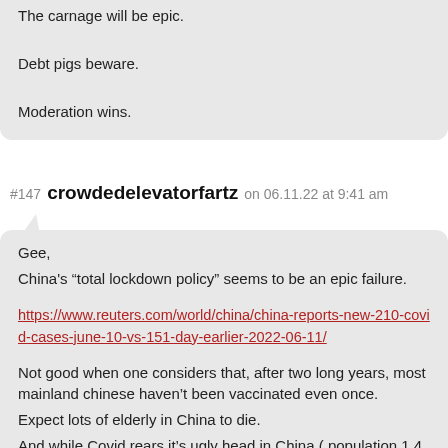The carnage will be epic.

Debt pigs beware.

Moderation wins.
#147 crowdedelevatorfartz on 06.11.22 at 9:41 am
Gee,
China's “total lockdown policy” seems to be an epic failure.

https://www.reuters.com/world/china/china-reports-new-210-covid-cases-june-10-vs-151-day-earlier-2022-06-11/

Not good when one considers that, after two long years, most mainland chinese haven’t been vaccinated even once.
Expect lots of elderly in China to die.
And while Covid rears it’s ugly head in China ( population 1.4 billion)

Canada does ….this……

https://vancouver.citynews.ca/2022/06/10/canada-travel-covid-19-tests/